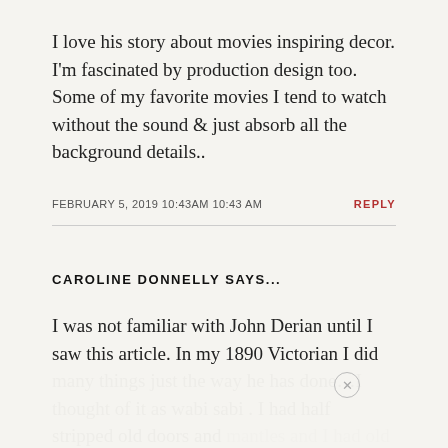I love his story about movies inspiring decor. I'm fascinated by production design too. Some of my favorite movies I tend to watch without the sound & just absorb all the background details..
FEBRUARY 5, 2019 10:43AM 10:43 AM    REPLY
CAROLINE DONNELLY SAYS...
I was not familiar with John Derian until I saw this article. In my 1890 Victorian I did many things just the way he has done…I thought of it as wabi sabi . I had half stripped old doors and mantles and I had old soapstone sinks that weren't refinished and a huge formerly built-in